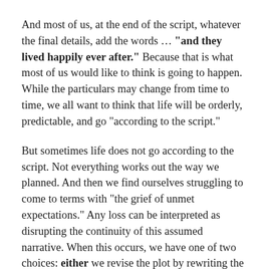And most of us, at the end of the script, whatever the final details, add the words … "and they lived happily ever after." Because that is what most of us would like to think is going to happen. While the particulars may change from time to time, we all want to think that life will be orderly, predictable, and go "according to the script."
But sometimes life does not go according to the script. Not everything works out the way we planned. And then we find ourselves struggling to come to terms with "the grief of unmet expectations." Any loss can be interpreted as disrupting the continuity of this assumed narrative. When this occurs, we have one of two choices: either we revise the plot by rewriting the script and assimilating the loss into pre-existing frameworks of meaning, ultimately reasserting or